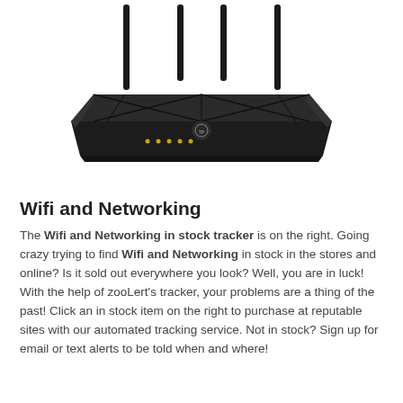[Figure (photo): A black TP-Link WiFi router with four antennas, viewed from a front-angled perspective. The router body is dark with angular design lines and small LED indicator lights on the front.]
Wifi and Networking
The Wifi and Networking in stock tracker is on the right. Going crazy trying to find Wifi and Networking in stock in the stores and online? Is it sold out everywhere you look? Well, you are in luck! With the help of zooLert's tracker, your problems are a thing of the past! Click an in stock item on the right to purchase at reputable sites with our automated tracking service. Not in stock? Sign up for email or text alerts to be told when and where!